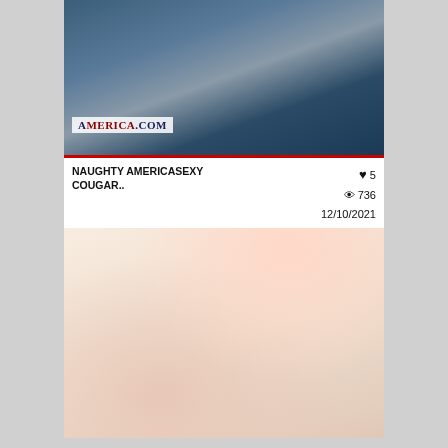[Figure (photo): Video thumbnail showing two people in a room, with AMERICA.COM watermark overlay and red bar at bottom]
NAUGHTY AMERICASEXY COUGAR..
♥ 5  👁 736  12/10/2021
stockings / blonde
[Figure (photo): Close-up photo showing white underwear/lingerie against skin]